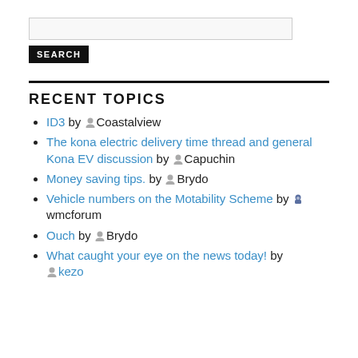[Figure (other): Search input box (text field)]
[Figure (other): SEARCH button (black button with white bold text)]
RECENT TOPICS
ID3 by Coastalview
The kona electric delivery time thread and general Kona EV discussion by Capuchin
Money saving tips. by Brydo
Vehicle numbers on the Motability Scheme by wmcforum
Ouch by Brydo
What caught your eye on the news today! by kezo